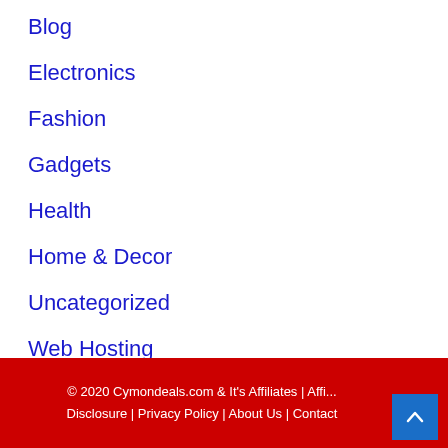Blog
Electronics
Fashion
Gadgets
Health
Home & Decor
Uncategorized
Web Hosting
© 2020 Cymondeals.com & It's Affiliates | Affili... Disclosure | Privacy Policy | About Us | Contact